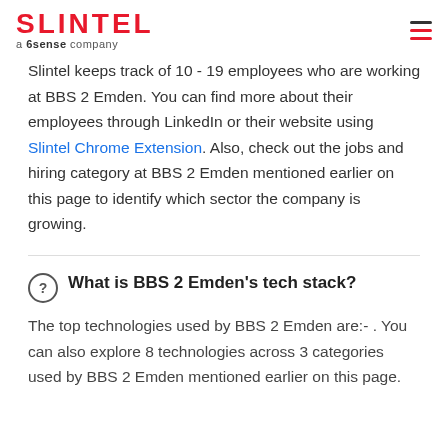SLINTEL a 6sense company
Slintel keeps track of 10 - 19 employees who are working at BBS 2 Emden. You can find more about their employees through LinkedIn or their website using Slintel Chrome Extension. Also, check out the jobs and hiring category at BBS 2 Emden mentioned earlier on this page to identify which sector the company is growing.
What is BBS 2 Emden's tech stack?
The top technologies used by BBS 2 Emden are:- . You can also explore 8 technologies across 3 categories used by BBS 2 Emden mentioned earlier on this page.